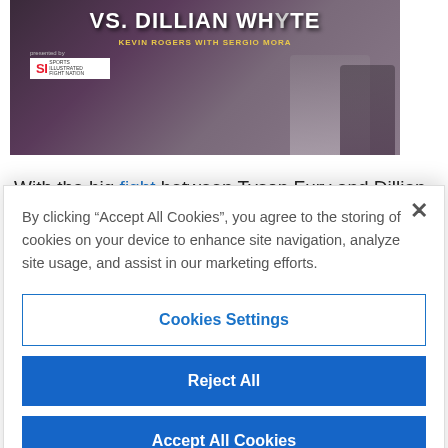[Figure (screenshot): Sports Illustrated boxing article header image showing two fighters posed, with title text 'VS. DILLIAN WHYTE', subtitle 'KEVIN ROGERS WITH SERGIO MORA', and SI Fight Nation logo]
With the big fight between Tyson Fury and Dillian Whyte taking place this weekend, we caught up with Swedish heavyweight Otto Wallin who gave his
By clicking “Accept All Cookies”, you agree to the storing of cookies on your device to enhance site navigation, analyze site usage, and assist in our marketing efforts.
Cookies Settings
Reject All
Accept All Cookies